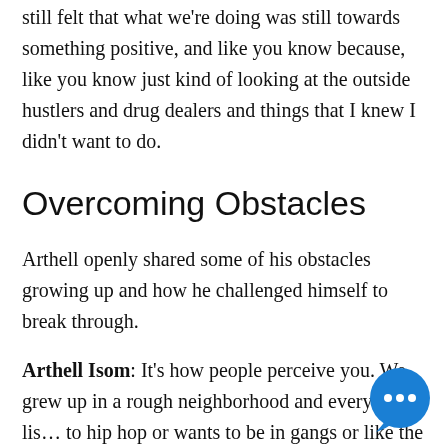still felt that what we're doing was still towards something positive, and like you know because, like you know just kind of looking at the outside hustlers and drug dealers and things that I knew I didn't want to do.
Overcoming Obstacles
Arthell openly shared some of his obstacles growing up and how he challenged himself to break through.
Arthell Isom: It's how people perceive you. We grew up in a rough neighborhood and everyone's lis… to hip hop or wants to be in gangs or like the outside
[Figure (illustration): Blue circular chat bubble icon with three dots (ellipsis) in white, positioned at bottom right corner of page]